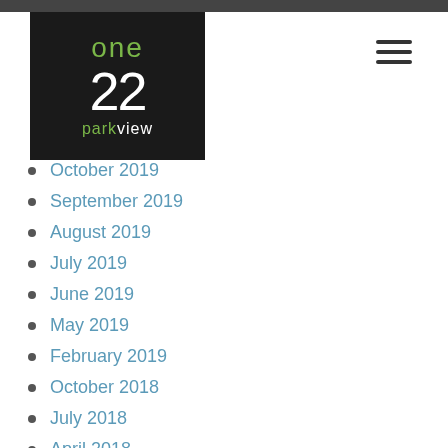[Figure (logo): One22 Parkview logo: white '22' and green 'one' text on dark background with green 'park' and white 'view' text below]
October 2019
September 2019
August 2019
July 2019
June 2019
May 2019
February 2019
October 2018
July 2018
April 2018
March 2018